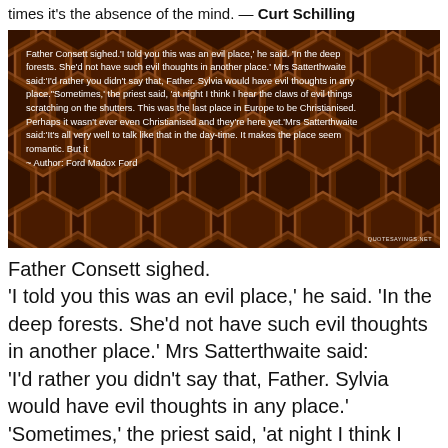times it's the absence of the mind. — Curt Schilling
[Figure (photo): Dark honeycomb background image with a literary quote overlay. Quote text: Father Consett sighed.'I told you this was an evil place,' he said. 'In the deep forests. She'd not have such evil thoughts in another place.' Mrs Satterthwaite said:'I'd rather you didn't say that, Father. Sylvia would have evil thoughts in any place.'Sometimes,' the priest said, 'at night I think I hear the claws of evil things scratching on the shutters. This was the last place in Europe to be Christianised. Perhaps it wasn't ever even Christianised and they're here yet.'Mrs Satterthwaite said:'It's all very well to talk like that in the day-time. It makes the place seem romantic. But it ~ Author: Ford Madox Ford]
Father Consett sighed.
'I told you this was an evil place,' he said. 'In the deep forests. She'd not have such evil thoughts in another place.' Mrs Satterthwaite said:
'I'd rather you didn't say that, Father. Sylvia would have evil thoughts in any place.'
'Sometimes,' the priest said, 'at night I think I hear the